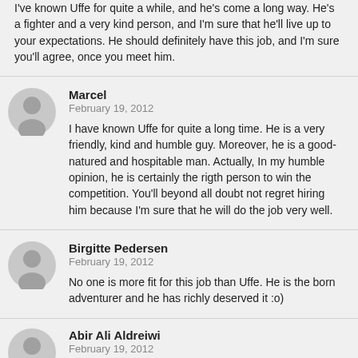I've known Uffe for quite a while, and he's come a long way. He's a fighter and a very kind person, and I'm sure that he'll live up to your expectations. He should definitely have this job, and I'm sure you'll agree, once you meet him.
Marcel
February 19, 2012

I have known Uffe for quite a long time. He is a very friendly, kind and humble guy. Moreover, he is a good-natured and hospitable man. Actually, In my humble opinion, he is certainly the rigth person to win the competition. You'll beyond all doubt not regret hiring him because I'm sure that he will do the job very well.
Birgitte Pedersen
February 19, 2012

No one is more fit for this job than Uffe. He is the born adventurer and he has richly deserved it :o)
Abir Ali Aldreiwi
February 19, 2012